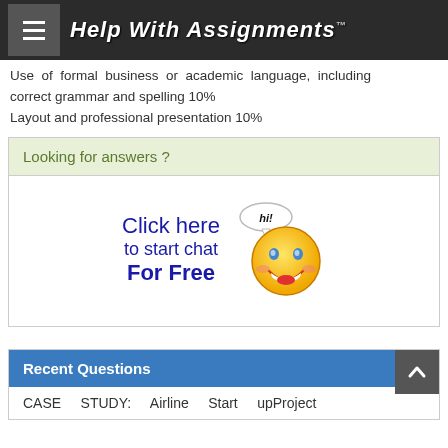Help With Assignments
Use of formal business or academic language, including correct grammar and spelling 10%
Layout and professional presentation 10%
Looking for answers ?
[Figure (illustration): Click here to start chat For Free with smiley face emoji and 'hi!' speech bubble]
Recent Questions
CASE STUDY: Airline Start upProject